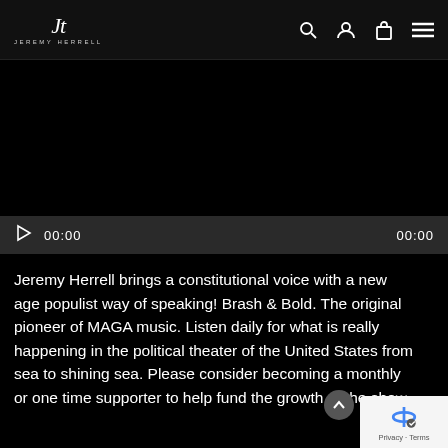JH JEREMY HERRELL — navigation bar with logo, search, user, cart, and menu icons
[Figure (screenshot): Black video embed area with media player bar showing play button and timecodes 00:00 / 00:00]
Jeremy Herrell brings a constitutional voice with a new age populist way of speaking! Brash & Bold. The original pioneer of MAGA music. Listen daily for what is really happening in the political theater of the United States from sea to shining sea. Please consider becoming a monthly or one time supporter to help fund the growth of the show